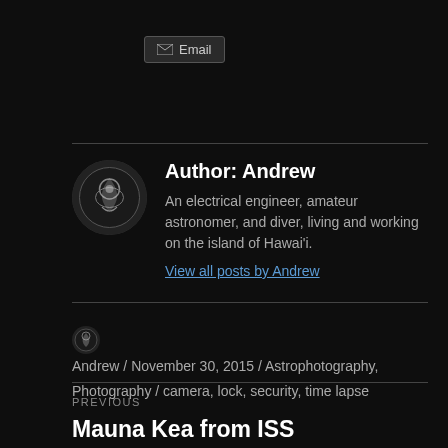Email
Author: Andrew
An electrical engineer, amateur astronomer, and diver, living and working on the island of Hawai'i.
View all posts by Andrew
Andrew / November 30, 2015 / Astrophotography, Photography / camera, lock, security, time lapse
PREVIOUS
Mauna Kea from ISS